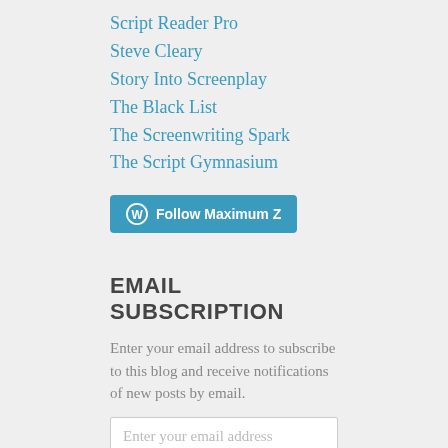Script Reader Pro
Steve Cleary
Story Into Screenplay
The Black List
The Screenwriting Spark
The Script Gymnasium
[Figure (other): A teal Follow button with WordPress logo icon and text 'Follow Maximum Z']
EMAIL SUBSCRIPTION
Enter your email address to subscribe to this blog and receive notifications of new posts by email.
Enter your email address
Sign me up!
Join 3,544 other followers